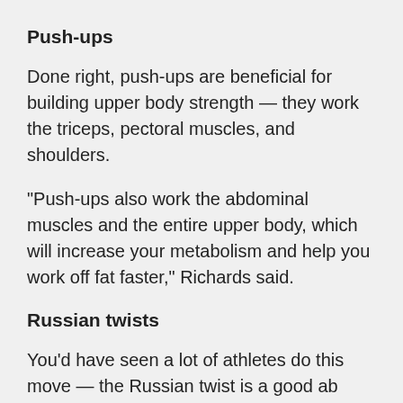Push-ups
Done right, push-ups are beneficial for building upper body strength — they work the triceps, pectoral muscles, and shoulders.
“Push-ups also work the abdominal muscles and the entire upper body, which will increase your metabolism and help you work off fat faster,” Richards said.
Russian twists
You'd have seen a lot of athletes do this move — the Russian twist is a good ab exercise that strengthens all the muscles in your core.